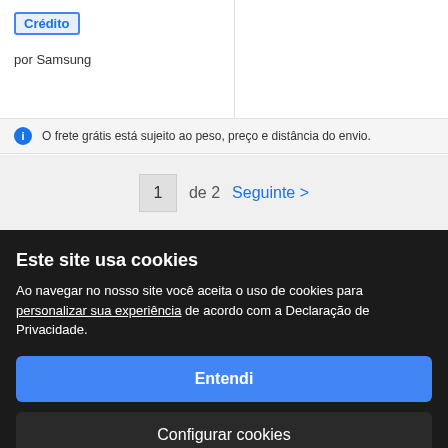Crédito
por Samsung
O frete grátis está sujeito ao peso, preço e distância do envio.
1 de 2 Seguinte >
Outras pessoas pesquisaram
cine box
Este site usa cookies
Ao navegar no nosso site você aceita o uso de cookies para personalizar sua experiência de acordo com a Declaração de Privacidade.
Entendi
smart tv 21 polegadas
Configurar cookies